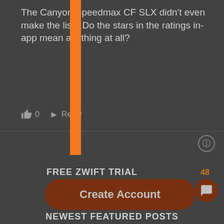The Canyon Speedmax CF SLX didn't even make the list? Do the stars in the ratings in-app mean anything at all?
0   Reply
[Figure (screenshot): Info icon circle]
FREE ZWIFT TRIAL
Create Account
48
[Figure (screenshot): Chat/message bubble icon in dark brown circle]
NEWEST FEATURED POSTS